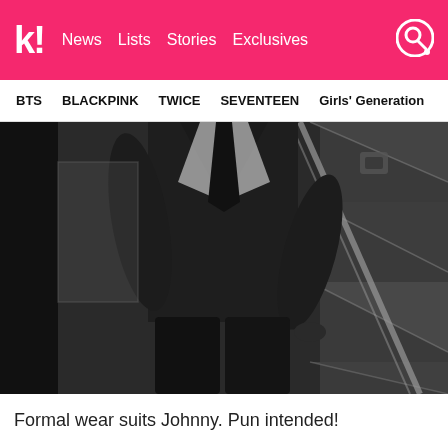k! News Lists Stories Exclusives
BTS BLACKPINK TWICE SEVENTEEN Girls' Generation
[Figure (photo): Black and white photograph of a person wearing a dark suit and tie, standing near stairs or a railing in a moody, low-light setting. The photo is cropped to show the body from mid-chest to lower legs.]
Formal wear suits Johnny. Pun intended!